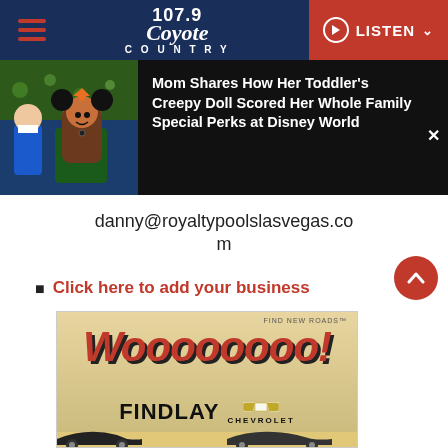107.9 Coyote Country — LISTEN
[Figure (photo): Young girl dressed as Minnie Mouse holding a doll dressed as Snow White, in a Disney-themed setting]
Mom Shares How Her Toddler's Creepy Doll Scored Her Whole Family Special Perks at Disney World
danny@royaltypoolslasvegas.com
Click here to add your business
[Figure (illustration): Findlay Chevrolet advertisement with large red text reading 'Woooooooo!' and Findlay Chevrolet logo, with car silhouettes at bottom. Find New Roads tagline at top right.]